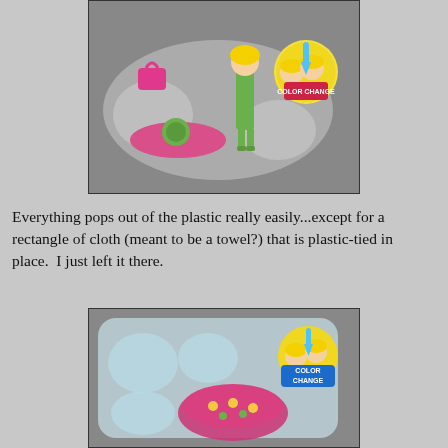[Figure (photo): A Polly Pocket 'Color Change' toy set in clear plastic packaging. A blonde doll in a green outfit stands in the center, with a pink handbag, a green turtle in a pink float, and a 'Color Change' logo circle in the upper right. The background is gray.]
Everything pops out of the plastic really easily...except for a rectangle of cloth (meant to be a towel?) that is plastic-tied in place.  I just left it there.
[Figure (photo): A close-up of the empty clear plastic packaging tray from the Polly Pocket 'Color Change' set, with a pink floral skirt/cloth item visible and the 'Color Change' logo sticker in the upper right corner.]